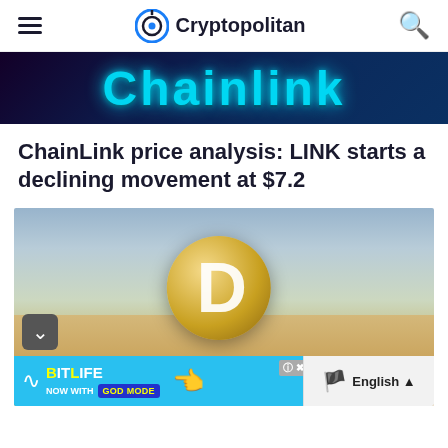Cryptopolitan
[Figure (photo): Chainlink banner with neon glowing text on dark background]
ChainLink price analysis: LINK starts a declining movement at $7.2
[Figure (illustration): Dogecoin logo (Shiba Inu dog face on gold coin with letter D) against desert landscape and cloudy sky background. Bottom shows BitLife ad banner 'NOW WITH GOD MODE'.]
English